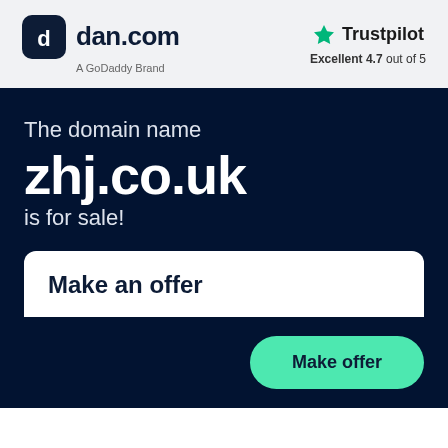[Figure (logo): dan.com logo with GoDaddy Brand subtitle]
[Figure (logo): Trustpilot logo with green star and Excellent 4.7 out of 5 rating]
The domain name
zhj.co.uk
is for sale!
Make an offer
Make offer